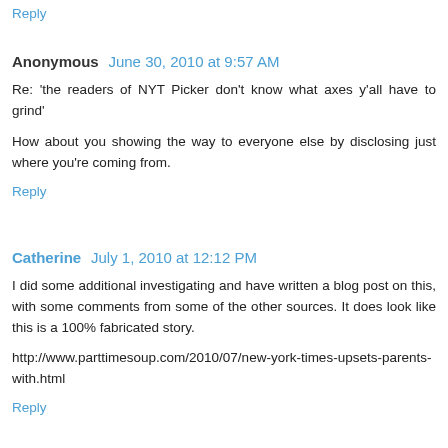Reply
Anonymous  June 30, 2010 at 9:57 AM
Re: 'the readers of NYT Picker don't know what axes y'all have to grind'

How about you showing the way to everyone else by disclosing just where you're coming from.
Reply
Catherine  July 1, 2010 at 12:12 PM
I did some additional investigating and have written a blog post on this, with some comments from some of the other sources. It does look like this is a 100% fabricated story.

http://www.parttimesoup.com/2010/07/new-york-times-upsets-parents-with.html
Reply